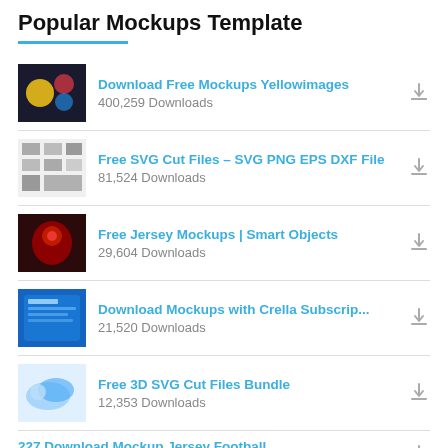Popular Mockups Template
Download Free Mockups Yellowimages — 400,259 Downloads
Free SVG Cut Files – SVG PNG EPS DXF File — 81,524 Downloads
Free Jersey Mockups | Smart Objects — 29,604 Downloads
Download Mockups with Crella Subscrip... — 21,520 Downloads
Free 3D SVG Cut Files Bundle — 12,353 Downloads
227 Download Mockup Jersey Football ... — 6,646 Downloads
Men s Full Ice Hockey Kit with Visor PS... — 4,596 Downloads
Water Polo Ball PSD Mockup Front View...